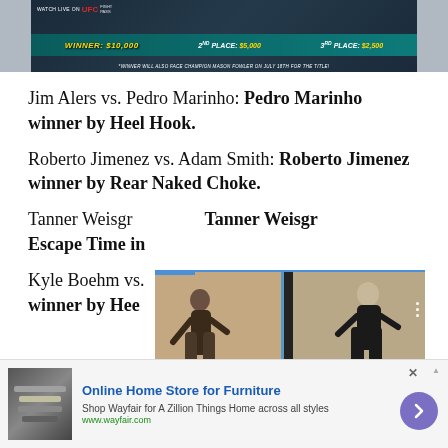[Figure (photo): UFC Fight Pass banner advertisement showing prize money: Winner $10,000, 2nd Place: $5,000, 3rd Place: $2,500. Winner will also face champion Mason Fowler on July 18th for the title.]
Jim Alers vs. Pedro Marinho: Pedro Marinho winner by Heel Hook.
Roberto Jimenez vs. Adam Smith: Roberto Jimenez winner by Rear Naked Choke.
Tanner Weisgr... Tanner Weisgr... winner by ... Escape Time in...
Kyle Boehm vs. ... winner by Hee...
[Figure (photo): Video overlay showing two martial arts / grappling scenes side by side with a blue arrow navigation button and a caption bar reading 'Facebook founder Mark']
[Figure (photo): Advertisement for Wayfair - Online Home Store for Furniture. Shop Wayfair for A Zillion Things Home across all styles. www.wayfair.com]